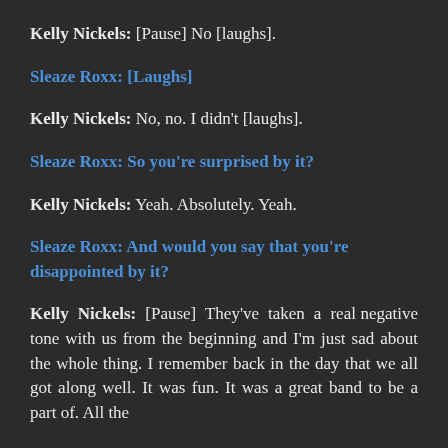Kelly Nickels: [Pause] No [laughs].
Sleaze Roxx: [Laughs]
Kelly Nickels: No, no. I didn't [laughs].
Sleaze Roxx: So you're surprised by it?
Kelly Nickels: Yeah. Absolutely. Yeah.
Sleaze Roxx: And would you say that you're disappointed by it?
Kelly Nickels: [Pause] They've taken a real negative tone with us from the beginning and I'm just sad about the whole thing. I remember back in the day that we all got along well. It was fun. It was a great band to be a part of. All the